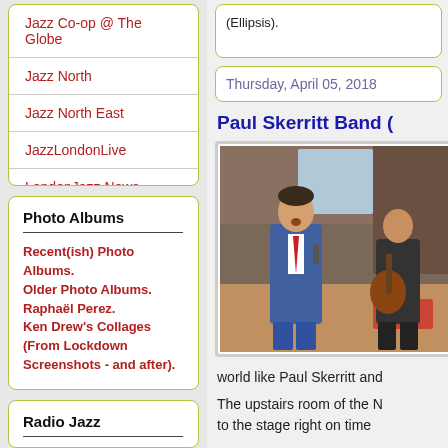Jazz Co-op @ The Globe
Jazz North
Jazz North East
JazzLondonLive
LondonJazz News
Tees Hot Club
Photo Albums
Recent(ish) Photo Albums.
Older Photo Albums.
Raphaël Perez.
Ken Drew's Collages (From Lockdown Screenshots - and after).
Radio Jazz
Thursday, April 05, 2018
Paul Skerritt Band (
[Figure (photo): Paul Skerritt Band performing live; a male singer in a blue suit with red tie holding a microphone, and a guitarist in background.]
world like Paul Skerritt and
The upstairs room of the N to the stage right on time